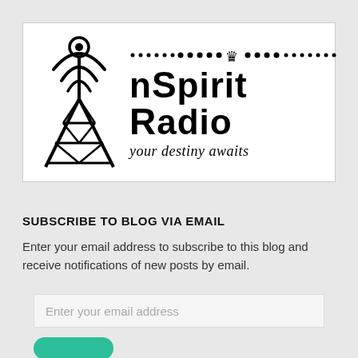[Figure (logo): InSpirit Radio logo with radio tower illustration on the left, dotted line with crown in the middle, bold text 'nSpirit Radio' and italic tagline 'your destiny awaits']
SUBSCRIBE TO BLOG VIA EMAIL
Enter your email address to subscribe to this blog and receive notifications of new posts by email.
Enter your email address